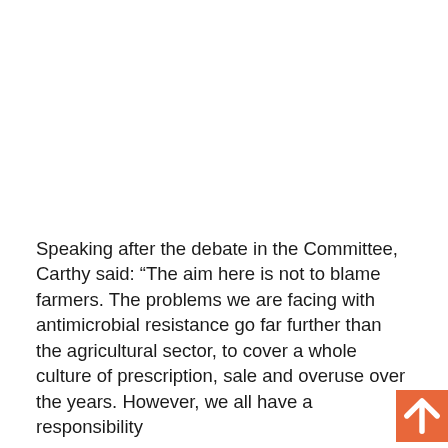Speaking after the debate in the Committee, Carthy said: “The aim here is not to blame farmers. The problems we are facing with antimicrobial resistance go far further than the agricultural sector, to cover a whole culture of prescription, sale and overuse over the years. However, we all have a responsibility